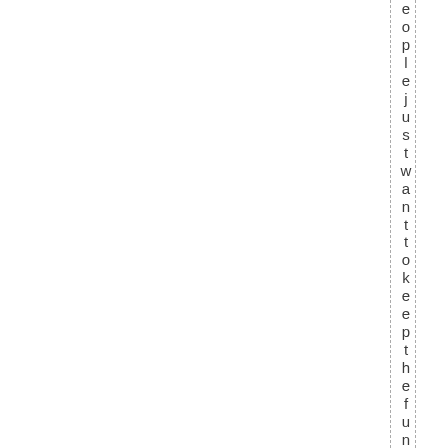eople just want to keep the fun